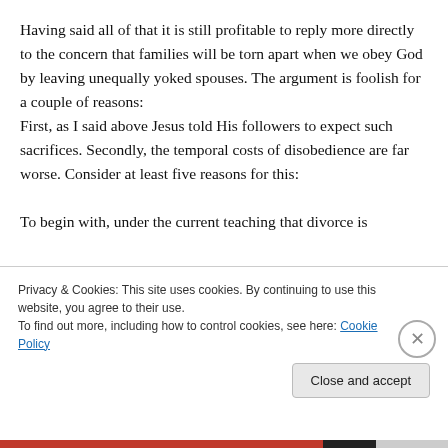Having said all of that it is still profitable to reply more directly to the concern that families will be torn apart when we obey God by leaving unequally yoked spouses. The argument is foolish for a couple of reasons: First, as I said above Jesus told His followers to expect such sacrifices. Secondly, the temporal costs of disobedience are far worse. Consider at least five reasons for this:
To begin with, under the current teaching that divorce is
Privacy & Cookies: This site uses cookies. By continuing to use this website, you agree to their use.
To find out more, including how to control cookies, see here: Cookie Policy
Close and accept